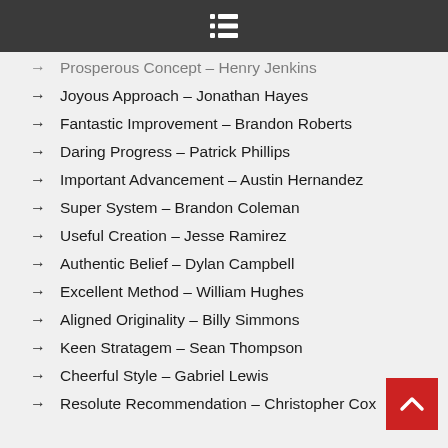Prosperous Concept – Henry Jenkins
Joyous Approach – Jonathan Hayes
Fantastic Improvement – Brandon Roberts
Daring Progress – Patrick Phillips
Important Advancement – Austin Hernandez
Super System – Brandon Coleman
Useful Creation – Jesse Ramirez
Authentic Belief – Dylan Campbell
Excellent Method – William Hughes
Aligned Originality – Billy Simmons
Keen Stratagem – Sean Thompson
Cheerful Style – Gabriel Lewis
Resolute Recommendation – Christopher Cox